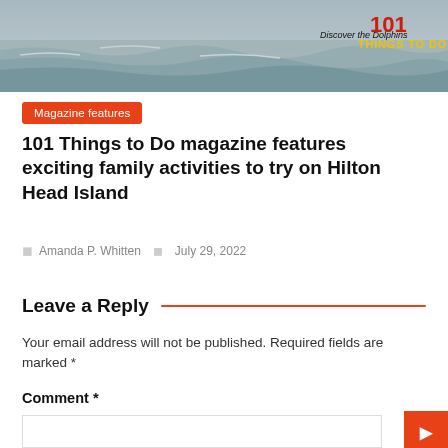[Figure (photo): Header image of ocean waves with '101 Things To Do' logo and 'Discover the Dolphins' tagline]
Magazine features
101 Things to Do magazine features exciting family activities to try on Hilton Head Island
Amanda P. Whitten   July 29, 2022
Leave a Reply
Your email address will not be published. Required fields are marked *
Comment *